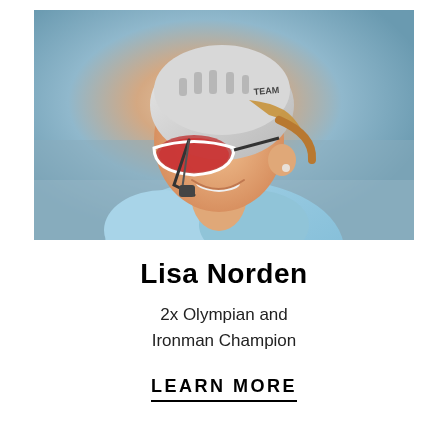[Figure (photo): Close-up photo of Lisa Norden, a female cyclist/triathlete, wearing a white cycling helmet with 'TEAM' text, red-lensed Oakley sunglasses, and a light blue cycling jersey. She is smiling and looking to the left. The background is blurred outdoor scenery.]
Lisa Norden
2x Olympian and Ironman Champion
LEARN MORE